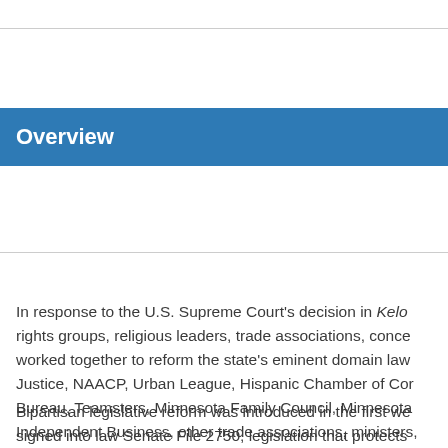Overview
In response to the U.S. Supreme Court's decision in Kelo rights groups, religious leaders, trade associations, conce worked together to reform the state's eminent domain law Justice, NAACP, Urban League, Hispanic Chamber of Cor Bureau, Teamsters, Minnesota Family Council, Minnesota Independent Business, other trade associations, ministers, gubernatorial candidate Tim Penny, and individuals who h
Bipartisan legislative reform was introduced in the first we signed into law Senate File 2750, legislation that protects